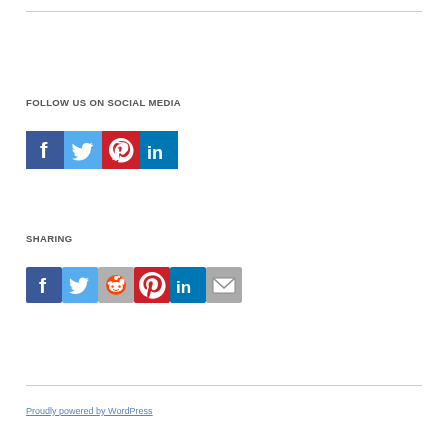FOLLOW US ON SOCIAL MEDIA
[Figure (illustration): Row of social media follow icons: Facebook (blue), Twitter (light blue), Pinterest (red), LinkedIn (dark blue)]
SHARING
[Figure (illustration): Row of social media sharing icons: Facebook (blue), Twitter (light blue), Reddit (grey/orange), Pinterest (red), LinkedIn (dark blue), Email (grey)]
Proudly powered by WordPress